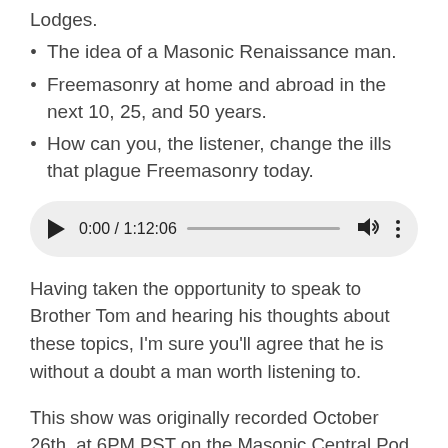Lodges.
The idea of a Masonic Renaissance man.
Freemasonry at home and abroad in the next 10, 25, and 50 years.
How can you, the listener, change the ills that plague Freemasonry today.
[Figure (other): Audio player showing 0:00 / 1:12:06 with play button, progress bar, volume icon, and more options icon]
Having taken the opportunity to speak to Brother Tom and hearing his thoughts about these topics, I'm sure you'll agree that he is without a doubt a man worth listening to.
This show was originally recorded October 26th, at 6PM PST on the Masonic Central Pod Cast to get a close up look on the world view of Freemasonry.